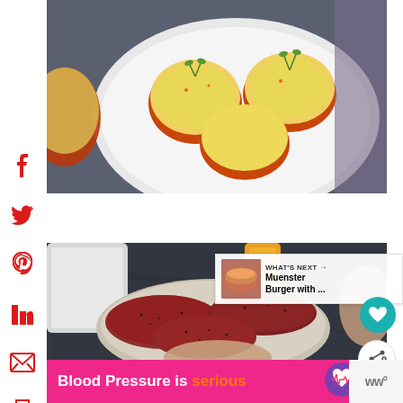[Figure (photo): Top-down view of baked stuffed mushrooms or potato cups filled with melted cheese and herbs on a white plate, dark background]
[Figure (photo): Raw seasoned burger patties on a white plate on a dark granite countertop, with a sauce bottle and white appliance in background, person's hands visible]
[Figure (photo): What's Next thumbnail - Muenster Burger with cheese]
WHAT'S NEXT → Muenster Burger with ...
Blood Pressure is serious